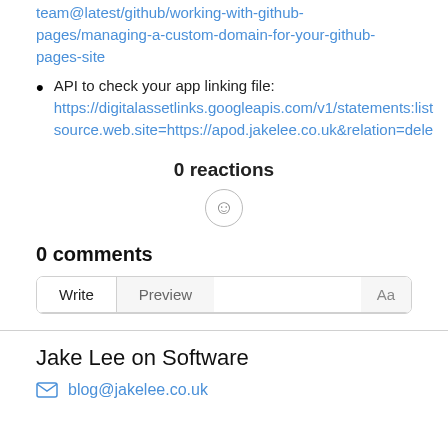team@latest/github/working-with-github-pages/managing-a-custom-domain-for-your-github-pages-site
API to check your app linking file: https://digitalassetlinks.googleapis.com/v1/statements:list?source.web.site=https://apod.jakelee.co.uk&relation=dele
0 reactions
0 comments
Write | Preview | Aa
Jake Lee on Software
blog@jakelee.co.uk